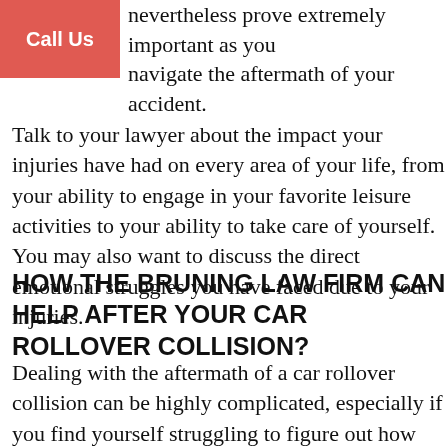nevertheless prove extremely important as you navigate the aftermath of your accident.
Talk to your lawyer about the impact your injuries have had on every area of your life, from your ability to engage in your favorite leisure activities to your ability to take care of yourself. You may also want to discuss the direct emotional struggles you have faced due to your injuries.
HOW THE BRUNING LAW FIRM CAN HELP AFTER YOUR CAR ROLLOVER COLLISION?
Dealing with the aftermath of a car rollover collision can be highly complicated, especially if you find yourself struggling to figure out how much compensation you deserve or what steps you need to take next to increase the compensation you can recover. At The Bruning Law